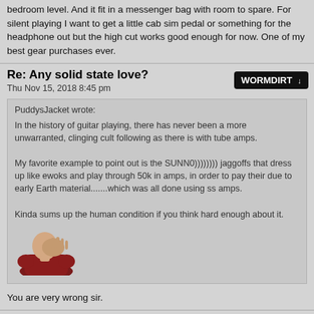bedroom level. And it fit in a messenger bag with room to spare. For silent playing I want to get a little cab sim pedal or something for the headphone out but the high cut works good enough for now. One of my best gear purchases ever.
Re: Any solid state love?
Thu Nov 15, 2018 8:45 pm
WORMDIRT ↓
PuddysJacket wrote:
In the history of guitar playing, there has never been a more unwarranted, clinging cult following as there is with tube amps.

My favorite example to point out is the SUNN0)))))))) jaggoffs that dress up like ewoks and play through 50k in amps, in order to pay their due to early Earth material.......which was all done using ss amps.

Kinda sums up the human condition if you think hard enough about it.
[Figure (photo): Facepalm meme image — bald man in red shirt covering face with hand]
You are very wrong sir.
Re: Any solid state love?
Thu Nov 15, 2018 9:40 pm
JereFuzz ↓
WORMDIRT wrote: